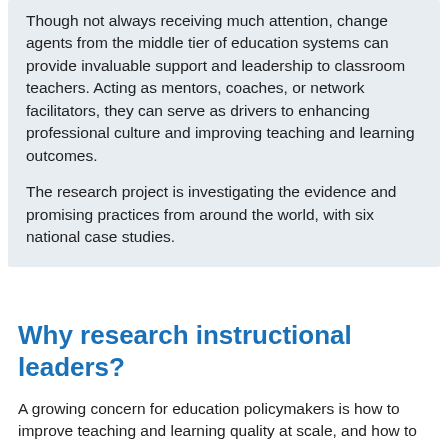Though not always receiving much attention, change agents from the middle tier of education systems can provide invaluable support and leadership to classroom teachers. Acting as mentors, coaches, or network facilitators, they can serve as drivers to enhancing professional culture and improving teaching and learning outcomes.
The research project is investigating the evidence and promising practices from around the world, with six national case studies.
Why research instructional leaders?
A growing concern for education policymakers is how to improve teaching and learning quality at scale, and how to strengthen and disseminate good teaching, this